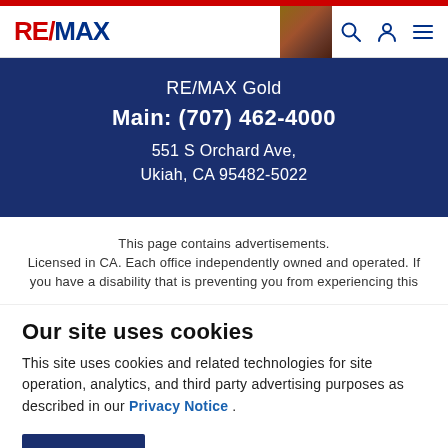[Figure (logo): RE/MAX logo in red and blue text]
[Figure (photo): Agent headshot photo, woman with dark hair]
RE/MAX Gold
Main: (707) 462-4000
551 S Orchard Ave,
Ukiah, CA 95482-5022
This page contains advertisements.
Licensed in CA. Each office independently owned and operated. If you have a disability that is preventing you from experiencing this
Our site uses cookies
This site uses cookies and related technologies for site operation, analytics, and third party advertising purposes as described in our Privacy Notice .
ACCEPT